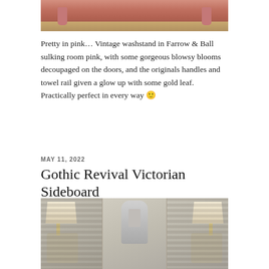[Figure (photo): Bottom portion of a pink painted vintage washstand with ornate legs, photographed on a wooden floor]
Pretty in pink… Vintage washstand in Farrow & Ball sulking room pink, with some gorgeous blowsy blooms decoupaged on the doors, and the originals handles and towel rail given a glow up with some gold leaf. Practically perfect in every way 🙂
MAY 11, 2022
Gothic Revival Victorian Sideboard
[Figure (photo): Gothic Revival Victorian Sideboard displayed with decorative lamps and a white horse figurine against shuttered background]